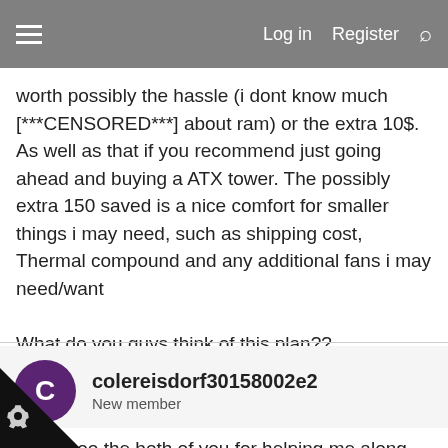Log in  Register
worth possibly the hassle (i dont know much [***CENSORED***] about ram) or the extra 10$. As well as that if you recommend just going ahead and buying a ATX tower. The possibly extra 150 saved is a nice comfort for smaller things i may need, such as shipping cost, Thermal compound and any additional fans i may need/want

What do you guys think of this plan??
colereisdorf30158002e2
New member
2022  #15
hanks too the both of you for helping me along